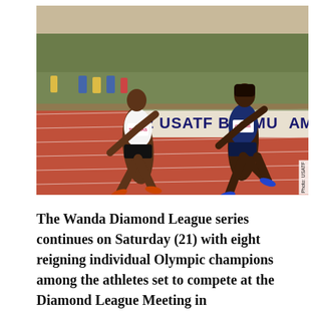[Figure (photo): Two female sprinters racing on a red track at the USATF Bermuda Games. The athlete on the left wears a white uniform with 'THOMAS' on her bib, the athlete on the right wears dark blue. A banner reading 'USATF BERMUDA GAMES' is visible in the background along with spectators.]
The Wanda Diamond League series continues on Saturday (21) with eight reigning individual Olympic champions among the athletes set to compete at the Diamond League Meeting in Birmingham. Watch all the live streaming coverage online!